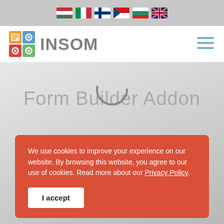[Language flags: HU, IT, FI, CZ, BG, EN]
[Figure (logo): INSOM logo with colorful gear/book icon and gray INSOM text, hamburger menu icon on right]
Form Builder Addon
We use cookies to improve your experience on our website. By browsing this website, you agree to our use of cookies. Read more about our Privacy Policy.
I accept